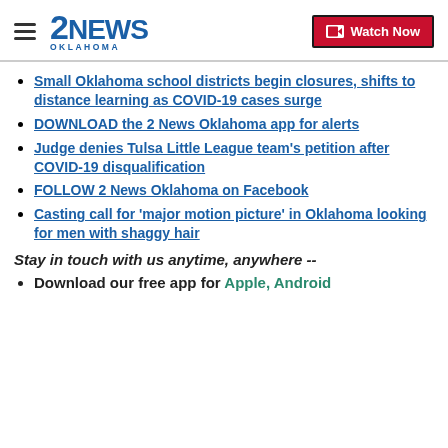2NEWS OKLAHOMA | Watch Now
Small Oklahoma school districts begin closures, shifts to distance learning as COVID-19 cases surge
DOWNLOAD the 2 News Oklahoma app for alerts
Judge denies Tulsa Little League team's petition after COVID-19 disqualification
FOLLOW 2 News Oklahoma on Facebook
Casting call for 'major motion picture' in Oklahoma looking for men with shaggy hair
Stay in touch with us anytime, anywhere --
Download our free app for Apple, Android